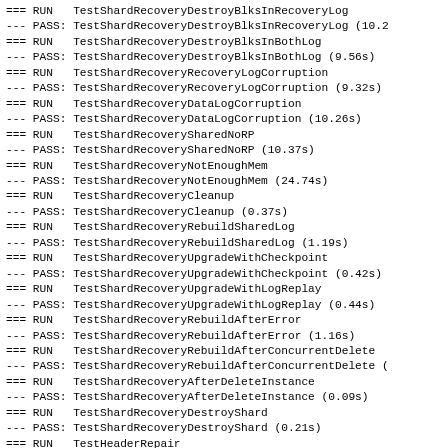=== RUN   TestShardRecoveryDestroyBlksInRecoveryLog
--- PASS: TestShardRecoveryDestroyBlksInRecoveryLog (10.2
=== RUN   TestShardRecoveryDestroyBlksInBothLog
--- PASS: TestShardRecoveryDestroyBlksInBothLog (9.56s)
=== RUN   TestShardRecoveryRecoveryLogCorruption
--- PASS: TestShardRecoveryRecoveryLogCorruption (9.32s)
=== RUN   TestShardRecoveryDataLogCorruption
--- PASS: TestShardRecoveryDataLogCorruption (10.26s)
=== RUN   TestShardRecoverySharedNoRP
--- PASS: TestShardRecoverySharedNoRP (10.37s)
=== RUN   TestShardRecoveryNotEnoughMem
--- PASS: TestShardRecoveryNotEnoughMem (24.74s)
=== RUN   TestShardRecoveryCleanup
--- PASS: TestShardRecoveryCleanup (0.37s)
=== RUN   TestShardRecoveryRebuildSharedLog
--- PASS: TestShardRecoveryRebuildSharedLog (1.19s)
=== RUN   TestShardRecoveryUpgradeWithCheckpoint
--- PASS: TestShardRecoveryUpgradeWithCheckpoint (0.42s)
=== RUN   TestShardRecoveryUpgradeWithLogReplay
--- PASS: TestShardRecoveryUpgradeWithLogReplay (0.44s)
=== RUN   TestShardRecoveryRebuildAfterError
--- PASS: TestShardRecoveryRebuildAfterError (1.16s)
=== RUN   TestShardRecoveryRebuildAfterConcurrentDelete
--- PASS: TestShardRecoveryRebuildAfterConcurrentDelete (
=== RUN   TestShardRecoveryAfterDeleteInstance
--- PASS: TestShardRecoveryAfterDeleteInstance (0.09s)
=== RUN   TestShardRecoveryDestroyShard
--- PASS: TestShardRecoveryDestroyShard (0.21s)
=== RUN   TestHeaderRepair
--- PASS: TestHeaderRepair (0.07s)
=== RUN   TestCheckpointWithWriter